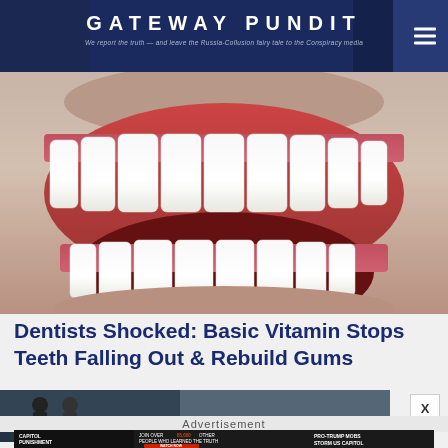GATEWAY PUNDIT — We report the truth — and leave the Russia-Collusion fairy tale to the Conspiracy media
[Figure (photo): Close-up photo of a human mouth open wide showing white teeth and gums]
Dentists Shocked: Basic Vitamin Stops Teeth Falling Out & Rebuild Gums
[Figure (photo): Advertisement banner image showing a dark scene]
Advertisement
[Figure (screenshot): Capitol Punishment advertisement: JOIN OVER 85,000 OTHER PEOPLE WHO LEARNED THE TRUTH ABOUT THE JANUARY 6TH CAPITOL. WATCH NOW. PRO-TRUMP MOBS STORM US CAPITOL. POLICE. JANUARY 6 WAS YEARS IN THE MAKING AND THE THREAT TO THE SURVIVAL OF AMERICA AS WE KNOW IT HAS NEVER BEEN GREATER.]